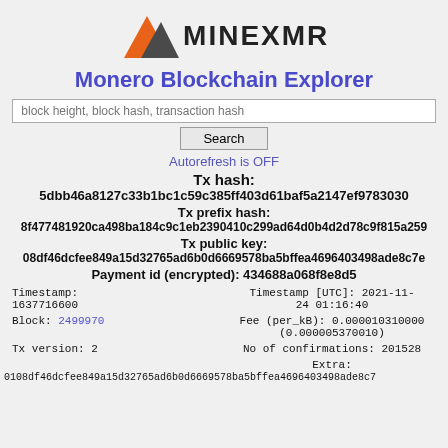[Figure (logo): MineXMR logo with orange and dark mountain peaks and MINEXMR text]
Monero Blockchain Explorer
block height, block hash, transaction hash [Search]
Autorefresh is OFF
Tx hash: 5dbb46a8127c33b1bc1c59c385ff403d61baf5a2147ef978303...
Tx prefix hash: 8f477481920ca498ba184c9c1eb2390410c299ad64d0b4d2d78c9f815a25...
Tx public key: 08df46dcfee849a15d32765ad6b0d6669578ba5bffea4696403498ade8c7e...
Payment id (encrypted): 434688a068f8e8d5
| Timestamp:
1637716600 | Timestamp [UTC]: 2021-11-24 01:16:40 |
| Block: 2499970 | Fee (per_kB): 0.000010310000
(0.000005370010) |
| Tx version: 2 | No of confirmations: 201528 |
|  | Extra: |
0108df46dcfee849a15d32765ad6b0d6669578ba5bffea4696403498ade8c7...